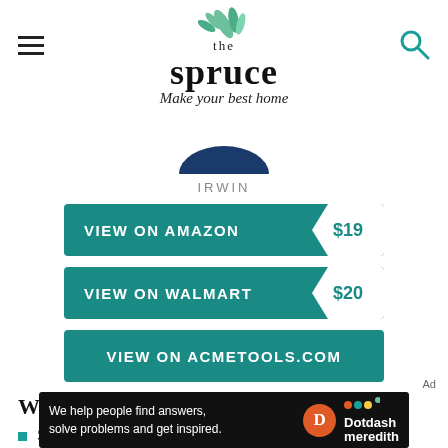[Figure (logo): The Spruce logo with leaf illustration and tagline 'Make your best home']
IRWIN
VIEW ON AMAZON $19
VIEW ON WALMART $20
VIEW ON ACMETOOLS.COM
What We Like
Smooth-turning spindle
Superior clamping power
[Figure (infographic): Dotdash Meredith advertisement banner: 'We help people find answers, solve problems and get inspired.']